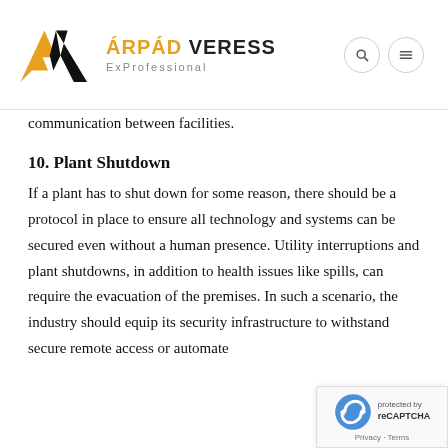ÁRPÁD VERESS ExProfessional
communication between facilities.
10. Plant Shutdown
If a plant has to shut down for some reason, there should be a protocol in place to ensure all technology and systems can be secured even without a human presence. Utility interruptions and plant shutdowns, in addition to health issues like spills, can require the evacuation of the premises. In such a scenario, the industry should equip its security infrastructure to withstand secure remote access or automate